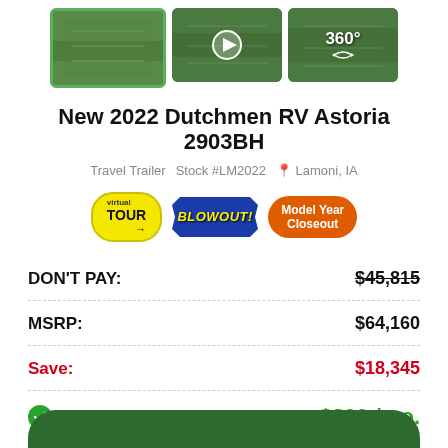[Figure (screenshot): Three RV interior thumbnail images: first with '+32' overlay and green border (selected), second with a play button icon, third with a 360° icon]
New 2022 Dutchmen RV Astoria 2903BH
Travel Trailer   Stock #LM2022   📍 Lamoni, IA
[Figure (infographic): Three promotional badges: 'virtual TOUR' on yellow oval, 'BLOWOUT!' on blue star burst, 'Model Year Closeout' on orange pill]
DON'T PAY:   $45,815 (strikethrough)
MSRP:   $64,160
Save:   $18,345
Payments From:   $399 /mo.